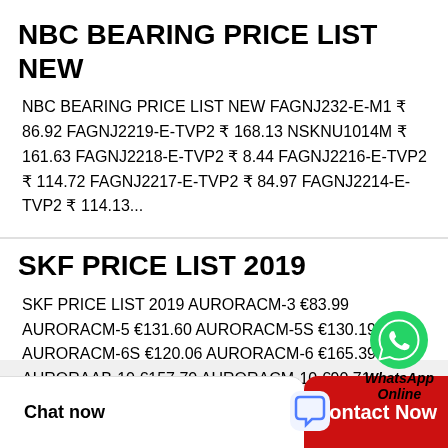NBC BEARING PRICE LIST NEW
NBC BEARING PRICE LIST NEW FAGNJ232-E-M1 ₹ 86.92 FAGNJ2219-E-TVP2 ₹ 168.13 NSKNU1014M ₹ 161.63 FAGNJ2218-E-TVP2 ₹ 8.44 FAGNJ2216-E-TVP2 ₹ 114.72 FAGNJ2217-E-TVP2 ₹ 84.97 FAGNJ2214-E-TVP2 ₹ 114.13...
SKF PRICE LIST 2019
SKF PRICE LIST 2019 AURORACM-3 €83.99 AURORACM-5 €131.60 AURORACM-5S €130.19 AURORACM-6S €120.06 AURORACM-6 €165.39 AURORAAB-10 €157.70 AURORACM-10 €90.71 AURORACM-10S €24.81 AURORACM-10Z...
[Figure (logo): WhatsApp Online green icon with label WhatsApp Online]
Chat now
Contact Now